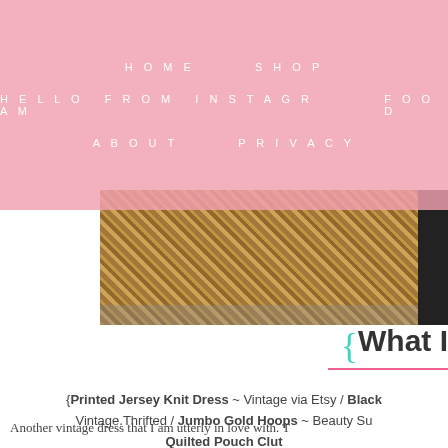HOME   SHOP   HELLO FROM INSTAGRAM   FOOD   ABOUT   PRIVACY
[Figure (photo): Autumn leaves on ground with a black boot/shoe visible at right edge]
{What I
{Printed Jersey Knit Dress ~ Vintage via Etsy / Black... Vintage.Thrifted / Jumbo Gold Hoops ~ Beauty Su... Quilted Pouch Clut...
Another vintage dress that I am utterly in love with. T...